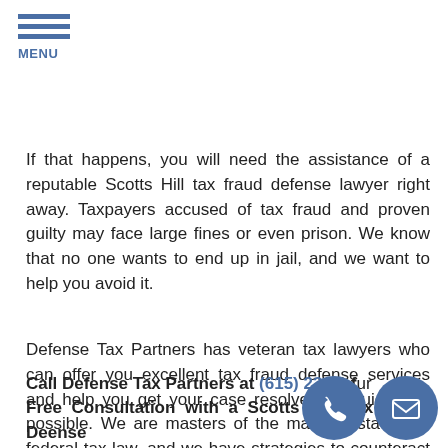MENU
If that happens, you will need the assistance of a reputable Scotts Hill tax fraud defense lawyer right away. Taxpayers accused of tax fraud and proven guilty may face large fines or even prison. We know that no one wants to end up in jail, and we want to help you avoid it.
Defense Tax Partners has veteran tax lawyers who can offer you excellent tax fraud defense services and help you get your case resolved as quickly as possible. We are masters of the maze of state and federal tax law, and we have strategies to counteract IRS. We will use our knowledge and experience to help you in resolving your tax fraud case, making sure you understand what is happening every step of the way. We will even defend you in court if need be.
Call Defense Tax Partners at (615) 23...2 for your Free Consultation with a Scotts Hill Tax Fraud Defense